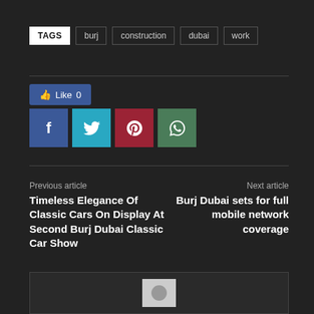TAGS  burj  construction  dubai  work
[Figure (other): Social sharing buttons: Like 0 (Facebook like), Facebook share, Twitter share, Pinterest share, WhatsApp share]
Previous article
Next article
Timeless Elegance Of Classic Cars On Display At Second Burj Dubai Classic Car Show
Burj Dubai sets for full mobile network coverage
[Figure (other): Author avatar placeholder box with grey circle icon]